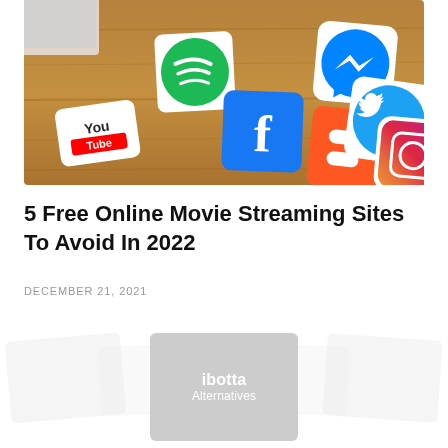[Figure (photo): Photo of various social media app icons (YouTube, Spotify, Facebook, Blogger, Twitter, Instagram, Messenger) as physical tiles on a wooden surface]
5 Free Online Movie Streaming Sites To Avoid In 2022
DECEMBER 21, 2021
[Figure (photo): Faded/ghosted related article card thumbnails with an 'ibotta Alternatives' card in the center]